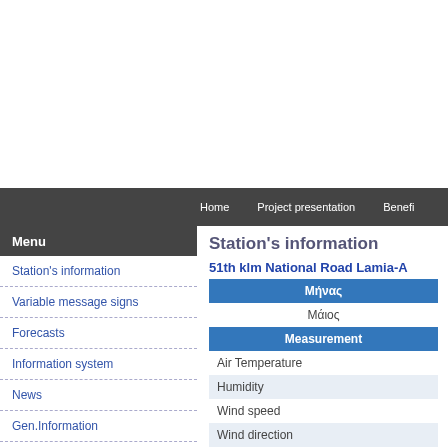Home   Project presentation   Benefi
Menu
Station's information
Variable message signs
Forecasts
Information system
News
Gen.Information
Station's information
51th klm National Road Lamia-A
| Μήνας |
| --- |
| Μάιος |
| Measurement |
| Air Temperature |
| Humidity |
| Wind speed |
| Wind direction |
| Atmospheric pressure |